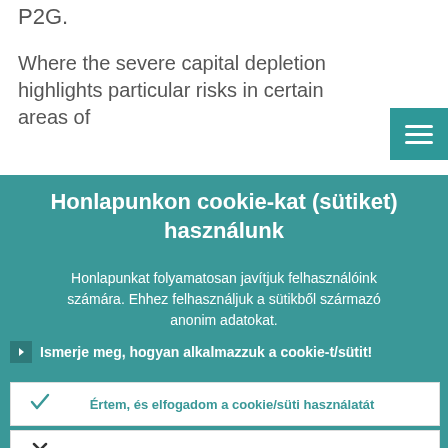P2G.
Where the severe capital depletion highlights particular risks in certain areas of
Honlapunkon cookie-kat (sütiket) használunk
Honlapunkat folyamatosan javítjuk felhasználóink számára. Ehhez felhasználjuk a sütikből származó anonim adatokat.
Ismerje meg, hogyan alkalmazzuk a cookie-t/sütit!
Értem, és elfogadom a cookie/süti használatát
Visszautasítom a cookie/süti használatát